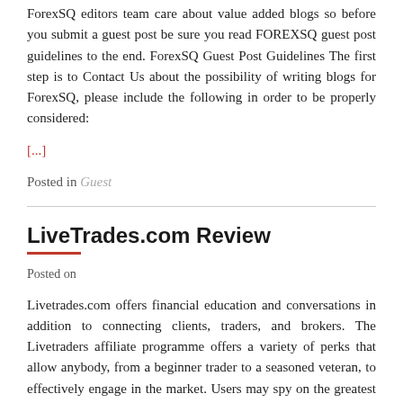ForexSQ editors team care about value added blogs so before you submit a guest post be sure you read FOREXSQ guest post guidelines to the end. ForexSQ Guest Post Guidelines The first step is to Contact Us about the possibility of writing blogs for ForexSQ, please include the following in order to be properly considered:
[...]
Posted in Guest
LiveTrades.com Review
Posted on
Livetrades.com offers financial education and conversations in addition to connecting clients, traders, and brokers. The Livetraders affiliate programme offers a variety of perks that allow anybody, from a beginner trader to a seasoned veteran, to effectively engage in the market. Users may spy on the greatest traders and immediately duplicate them using advanced automated